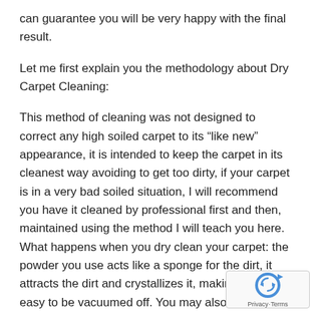can guarantee you will be very happy with the final result.
Let me first explain you the methodology about Dry Carpet Cleaning:
This method of cleaning was not designed to correct any high soiled carpet to its “like new” appearance, it is intended to keep the carpet in its cleanest way avoiding to get too dirty, if your carpet is in a very bad soiled situation, I will recommend you have it cleaned by professional first and then, maintained using the method I will teach you here. What happens when you dry clean your carpet: the powder you use acts like a sponge for the dirt, it attracts the dirt and crystallizes it, making it very easy to be vacuumed off. You may also remove some spots/stains using the dry cleaning process but, make sure you have the “Carpet Spot Kit” to treat hard to remove spots prior to the cleaning.